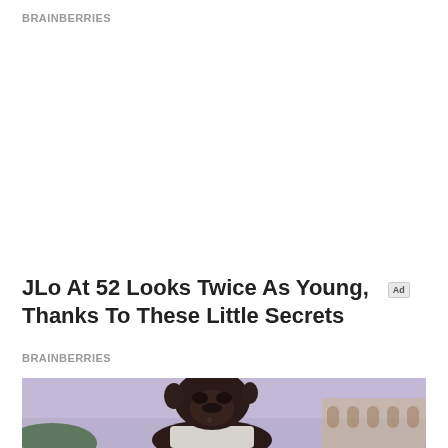BRAINBERRIES
[Figure (photo): Advertisement placeholder area (white/empty space with Ad badge)]
JLo At 52 Looks Twice As Young, Thanks To These Little Secrets
BRAINBERRIES
[Figure (photo): Close-up photo of a chimpanzee wearing a white tank top, looking upward, with a purple-blue sky and a building with arched columns in the background]